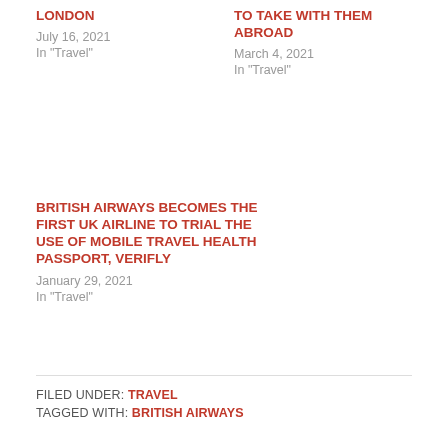London
July 16, 2021
In "Travel"
TO TAKE WITH THEM ABROAD
March 4, 2021
In "Travel"
BRITISH AIRWAYS BECOMES THE FIRST UK AIRLINE TO TRIAL THE USE OF MOBILE TRAVEL HEALTH PASSPORT, VERIFLY
January 29, 2021
In "Travel"
FILED UNDER: TRAVEL
TAGGED WITH: BRITISH AIRWAYS